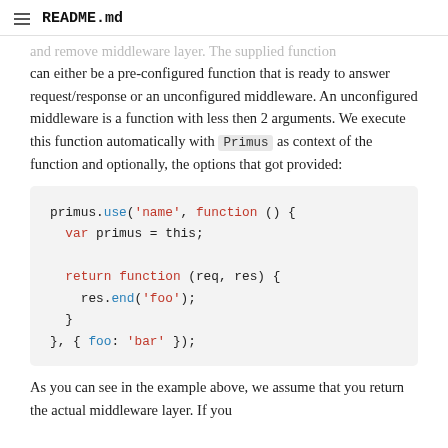README.md
and remove middleware layer. The supplied function can either be a pre-configured function that is ready to answer request/response or an unconfigured middleware. An unconfigured middleware is a function with less then 2 arguments. We execute this function automatically with Primus as context of the function and optionally, the options that got provided:
primus.use('name', function () {
  var primus = this;

  return function (req, res) {
    res.end('foo');
  }
}, { foo: 'bar' });
As you can see in the example above, we assume that you return the actual middleware layer. If you